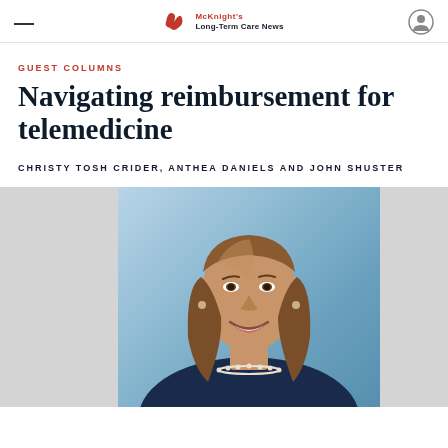McKnight's Long-Term Care News
GUEST COLUMNS
Navigating reimbursement for telemedicine
CHRISTY TOSH CRIDER, ANTHEA DANIELS AND JOHN SHUSTER
[Figure (photo): Professional headshot of a woman with long brown hair, smiling, wearing a dark blazer and pearl necklace, against a light blue background]